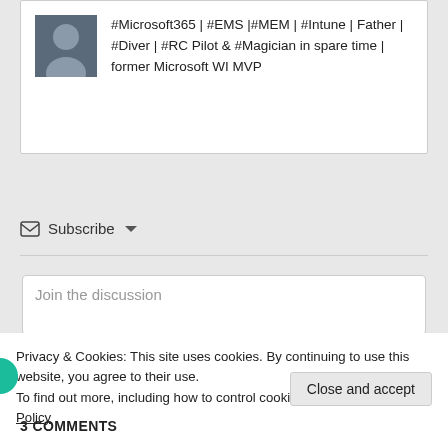#Microsoft365 | #EMS |#MEM | #Intune | Father | #Diver | #RC Pilot & #Magician in spare time | former Microsoft WI MVP
Subscribe
Join the discussion
Privacy & Cookies: This site uses cookies. By continuing to use this website, you agree to their use.
To find out more, including how to control cookies, see here: Cookie Policy
Close and accept
3 COMMENTS